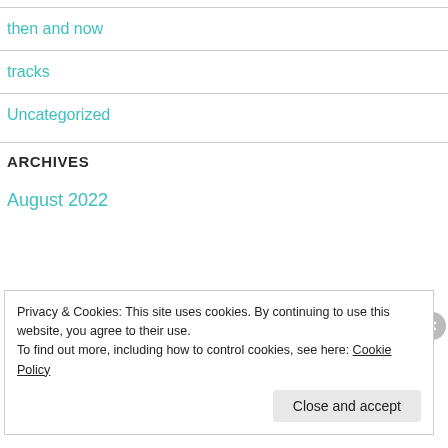then and now
tracks
Uncategorized
ARCHIVES
August 2022
Privacy & Cookies: This site uses cookies. By continuing to use this website, you agree to their use.
To find out more, including how to control cookies, see here: Cookie Policy
Close and accept